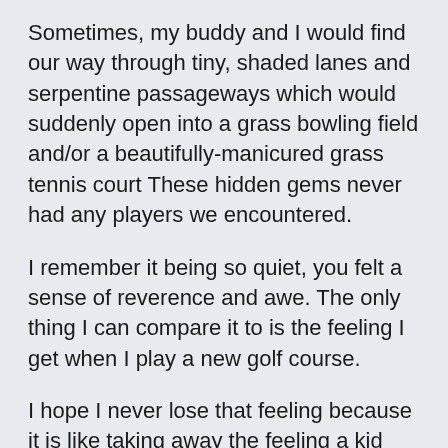Sometimes, my buddy and I would find our way through tiny, shaded lanes and serpentine passageways which would suddenly open into a grass bowling field and/or a beautifully-manicured grass tennis court These hidden gems never had any players we encountered.
I remember it being so quiet, you felt a sense of reverence and awe. The only thing I can compare it to is the feeling I get when I play a new golf course.
I hope I never lose that feeling because it is like taking away the feeling a kid gets when, after managing to awaken their parents from their egg-nog induced extended sleepy time, and racing downstairs to light the tree, well, just the eyes of